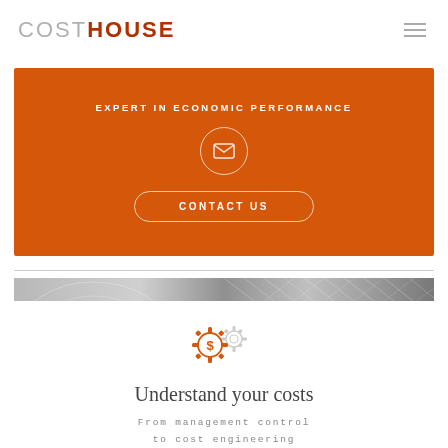[Figure (logo): COSTHOUSE logo with COST in grey and HOUSE in dark red]
[Figure (infographic): Hamburger menu icon with three horizontal grey lines]
EXPERT IN ECONOMIC PERFORMANCE
[Figure (illustration): Email/envelope icon inside a white circle on orange background]
CONTACT US
[Figure (photo): Architectural structure panoramic image strip in black and white]
[Figure (illustration): Two interlocking gear icons with dollar sign in orange]
Understand your costs
From management control
to cost engineering